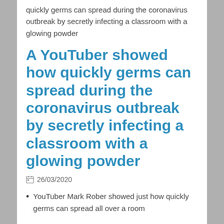quickly germs can spread during the coronavirus outbreak by secretly infecting a classroom with a glowing powder
A YouTuber showed how quickly germs can spread during the coronavirus outbreak by secretly infecting a classroom with a glowing powder
26/03/2020
YouTuber Mark Rober showed just how quickly germs can spread all over a room